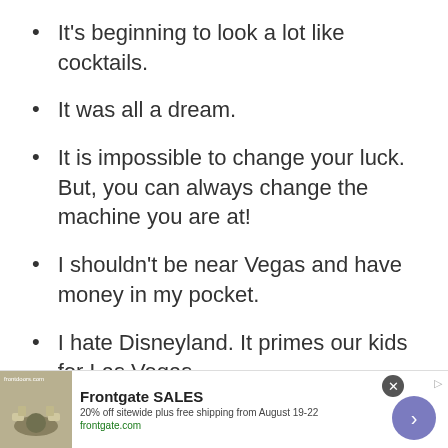It's beginning to look a lot like cocktails.
It was all a dream.
It is impossible to change your luck. But, you can always change the machine you are at!
I shouldn't be near Vegas and have money in my pocket.
I hate Disneyland. It primes our kids for Las Vegas.
[Figure (infographic): Advertisement banner for Frontgate SALES showing patio furniture with fire pit. Text: Frontgate SALES, 20% off sitewide plus free shipping from August 19-22, frontgate.com]